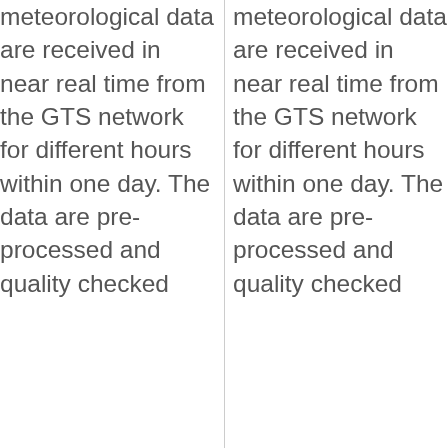| meteoro logical data are received in near real time from the GTS network for different hours within one day. The data are pre-processed and quality checked | meteoro logical data are received in near real time from the GTS network for different hours within one day. The data are pre-processed and quality checked |